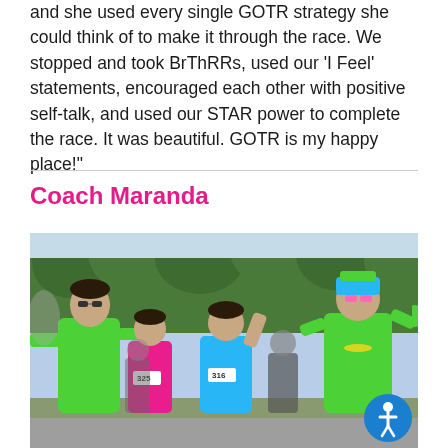and she used every single GOTR strategy she could think of to make it through the race. We stopped and took BrThRRs, used our ‘I Feel’ statements, encouraged each other with positive self-talk, and used our STAR power to complete the race. It was beautiful. GOTR is my happy place!”
Coach Maranda
[Figure (photo): Group photo of adults and children in green and colorful shirts at a running race event outdoors. Two children wear race bibs numbered 325 and 316. Adults wear bright green shirts. Trees and road visible in background.]